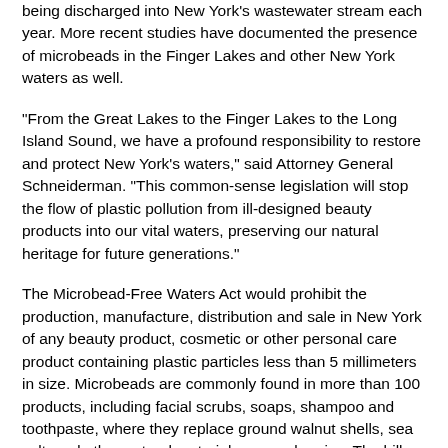being discharged into New York's wastewater stream each year. More recent studies have documented the presence of microbeads in the Finger Lakes and other New York waters as well.
"From the Great Lakes to the Finger Lakes to the Long Island Sound, we have a profound responsibility to restore and protect New York's waters," said Attorney General Schneiderman. "This common-sense legislation will stop the flow of plastic pollution from ill-designed beauty products into our vital waters, preserving our natural heritage for future generations."
The Microbead-Free Waters Act would prohibit the production, manufacture, distribution and sale in New York of any beauty product, cosmetic or other personal care product containing plastic particles less than 5 millimeters in size. Microbeads are commonly found in more than 100 products, including facial scrubs, soaps, shampoo and toothpaste, where they replace ground walnut shells, sea salt, and other natural materials as an abrasive. The bill was greeted by widespread expressions of support from the environmental advocacy community across New York State.